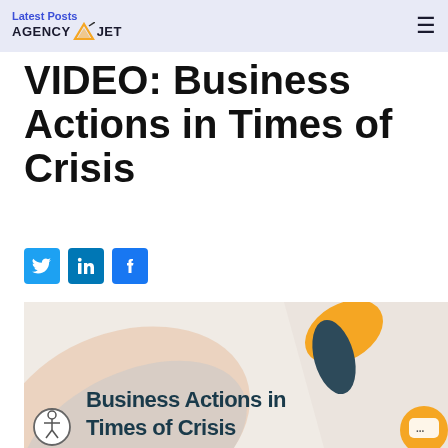Latest Posts | AGENCY JET
VIDEO: Business Actions in Times of Crisis
[Figure (illustration): Social share buttons: Twitter (blue bird icon), LinkedIn (blue 'in' icon), Facebook (blue 'f' icon)]
[Figure (illustration): Article thumbnail illustration with abstract shapes in peach, grey, orange, and dark teal, with text overlay reading 'Business Actions in Times of Crisis'. An orange chat widget appears in the bottom-right corner, and an accessibility icon in the bottom-left.]